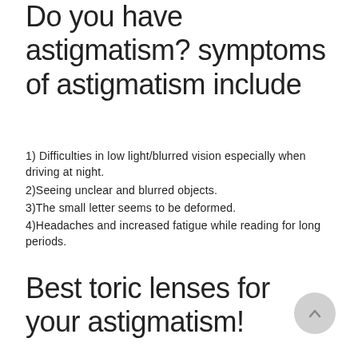Do you have astigmatism? symptoms of astigmatism include
1) Difficulties in low light/blurred vision especially when driving at night.
2)Seeing unclear and blurred objects.
3)The small letter seems to be deformed.
4)Headaches and increased fatigue while reading for long periods.
Best toric lenses for your astigmatism!